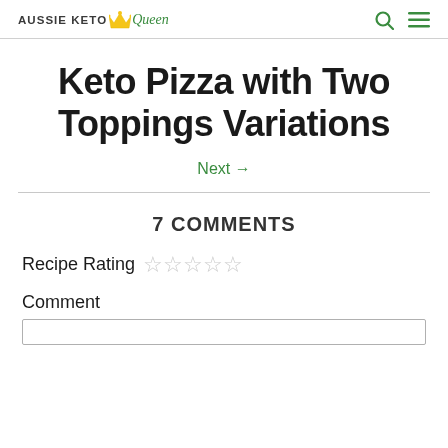AUSSIE KETO Queen
Keto Pizza with Two Toppings Variations
Next →
7 COMMENTS
Recipe Rating ☆☆☆☆☆
Comment